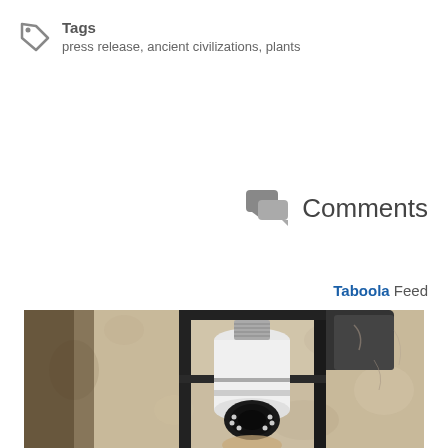Tags
press release, ancient civilizations, plants
Comments
Taboola Feed
[Figure (photo): A security camera shaped like a light bulb installed inside an outdoor wall lantern fixture mounted on a textured stucco wall]